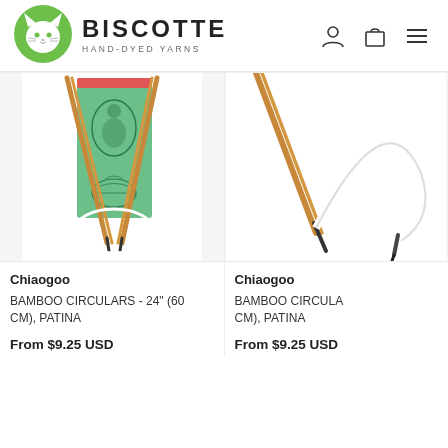[Figure (logo): Biscotte Hand-Dyed Yarns logo: green circle with white cat icon, text BISCOTTE and HAND-DYED YARNS]
BISCOTTE HAND-DYED YARNS
[Figure (photo): Chiaogoo bamboo circular knitting needles with green packaging showing illustrated figure and globe, white cable loop visible]
Chiaogoo
BAMBOO CIRCULARS - 24" (60 CM), PATINA
From $9.25 USD
[Figure (photo): Chiaogoo bamboo circular knitting needles closeup showing bamboo needle tips and white cable loop on white background]
Chiaogoo
BAMBOO CIRCULARS - [size] (60 CM), PATINA
From $9.25 USD